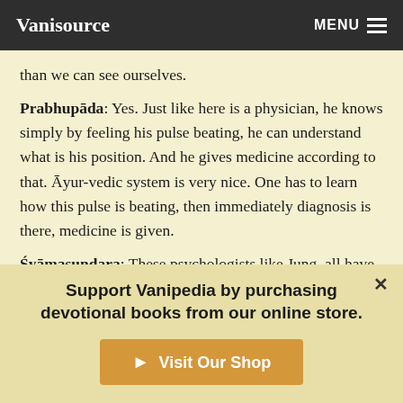Vanisource | MENU
than we can see ourselves.
Prabhupāda: Yes. Just like here is a physician, he knows simply by feeling his pulse beating, he can understand what is his position. And he gives medicine according to that. Āyur-vedic system is very nice. One has to learn how this pulse is beating, then immediately diagnosis is there, medicine is given.
Śyāmasundara: These psychologists like Jung, all have different processes for finding out a person's unconscious mind. For instance, interpreting his dreams, or by sometimes they put a picture, they say, "How do you look at this picture? What do you
Support Vanipedia by purchasing devotional books from our online store.
Visit Our Shop